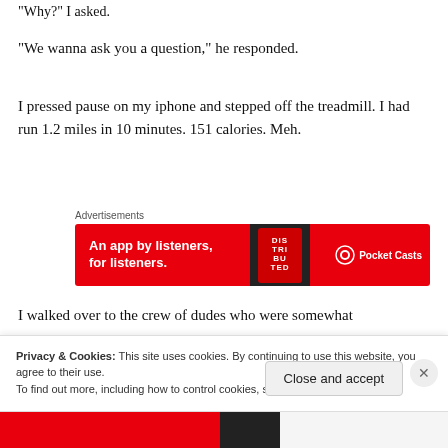“Why?” I asked.
“We wanna ask you a question,” he responded.
I pressed pause on my iphone and stepped off the treadmill. I had run 1.2 miles in 10 minutes. 151 calories. Meh.
[Figure (other): Pocket Casts advertisement banner: red background with text 'An app by listeners, for listeners.' and Pocket Casts logo]
I walked over to the crew of dudes who were somewhat
Privacy & Cookies: This site uses cookies. By continuing to use this website, you agree to their use.
To find out more, including how to control cookies, see here: Cookie Policy
Close and accept